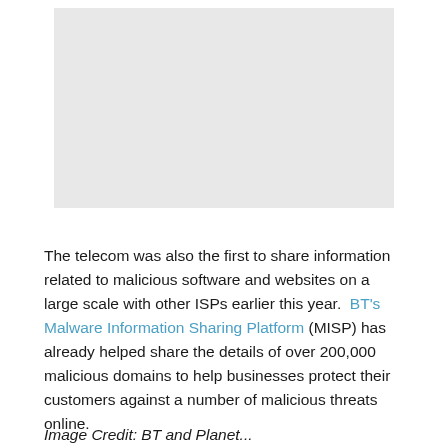[Figure (other): A light grey rectangular placeholder image area]
The telecom was also the first to share information related to malicious software and websites on a large scale with other ISPs earlier this year.  BT's Malware Information Sharing Platform (MISP) has already helped share the details of over 200,000 malicious domains to help businesses protect their customers against a number of malicious threats online.
Image Credit: BT and Planet...